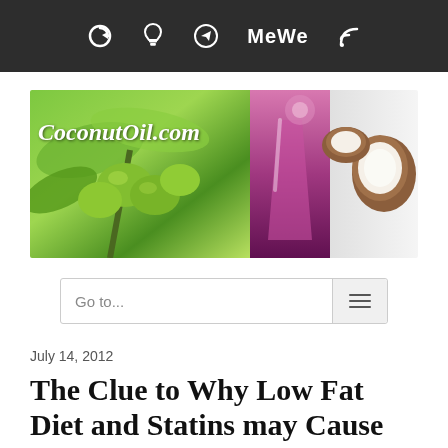Toolbar with share/social icons: refresh, lightbulb, send, MeWe, RSS
[Figure (illustration): CoconutOil.com website banner showing green coconuts, a purple smoothie drink, and a halved coconut on white background, with italic bold white text 'CoconutOil.com']
Go to...
July 14, 2012
The Clue to Why Low Fat Diet and Statins may Cause Alzheimer's